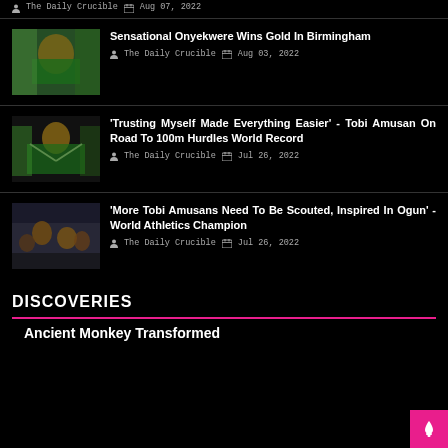The Daily Crucible   Aug 07, 2022
[Figure (photo): Athlete celebrating with Nigerian flag]
Sensational Onyekwere Wins Gold In Birmingham
The Daily Crucible   Aug 03, 2022
[Figure (photo): Athlete with arms outstretched holding Nigerian flag]
'Trusting Myself Made Everything Easier' - Tobi Amusan On Road To 100m Hurdles World Record
The Daily Crucible   Jul 26, 2022
[Figure (photo): Crowd celebration scene]
'More Tobi Amusans Need To Be Scouted, Inspired In Ogun' - World Athletics Champion
The Daily Crucible   Jul 26, 2022
DISCOVERIES
Ancient Monkey Transformed